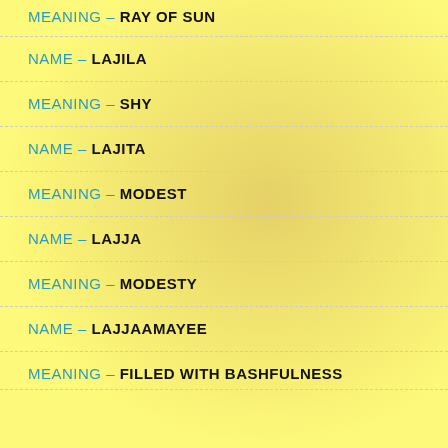MEANING – RAY OF SUN
NAME – LAJILA
MEANING – SHY
NAME – LAJITA
MEANING – MODEST
NAME – LAJJA
MEANING – MODESTY
NAME – LAJJAAMAYEE
MEANING – FILLED WITH BASHFULNESS